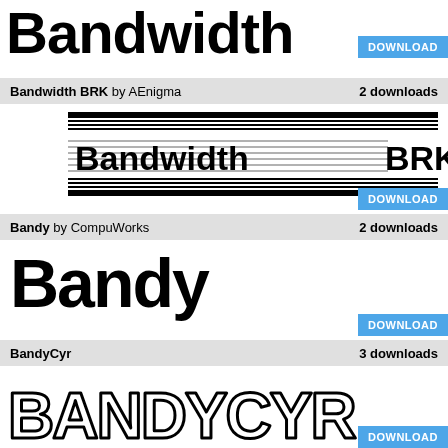[Figure (illustration): Top font preview showing 'Bandwidth' in bold black blocky font, partially cropped, with a DOWNLOAD button in blue top right]
Bandwidth BRK by AEnigma  2 downloads
[Figure (illustration): Font preview of Bandwidth BRK showing 'Bandwidth BRK' text with horizontal lines pattern]
DOWNLOAD
Bandy by CompuWorks  2 downloads
[Figure (illustration): Font preview of Bandy showing 'Bandy' in large rounded black sans-serif font]
DOWNLOAD
BandyCyr  3 downloads
[Figure (illustration): Font preview of BandyCyr showing 'BANDYCYR' in large outlined bubbly letters]
DOWNLOAD